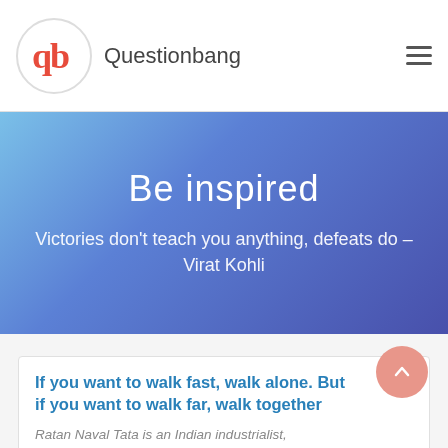Questionbang
Be inspired
Victories don't teach you anything, defeats do – Virat Kohli
If you want to walk fast, walk alone. But if you want to walk far, walk together
Ratan Naval Tata is an Indian industrialist,